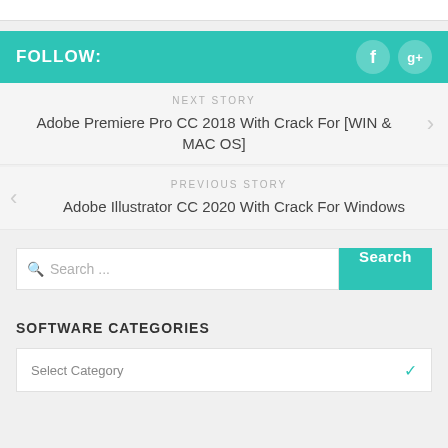FOLLOW:
NEXT STORY
Adobe Premiere Pro CC 2018 With Crack For [WIN & MAC OS]
PREVIOUS STORY
Adobe Illustrator CC 2020 With Crack For Windows
Search ...
SOFTWARE CATEGORIES
Select Category